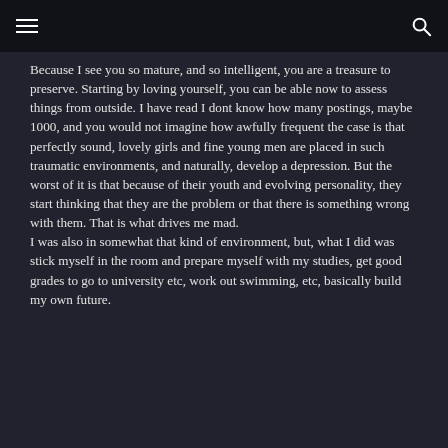≡   🔍
Because I see you so mature, and so intelligent, you are a treasure to preserve. Starting by loving yourself, you can be able now to assess things from outside. I have read I dont know how many postings, maybe 1000, and you would not imagine how awfully frequent the case is that perfectly sound, lovely girls and fine young men are placed in such traumatic environments, and naturally, develop a depression. But the worst of it is that because of their youth and evolving personality, they start thinking that they are the problem or that there is something wrong with them. That is what drives me mad.
I was also in somewhat that kind of environment, but, what I did was stick myself in the room and prepare myself with my studies, get good grades to go to university etc, work out swimming, etc, basically build my own future.